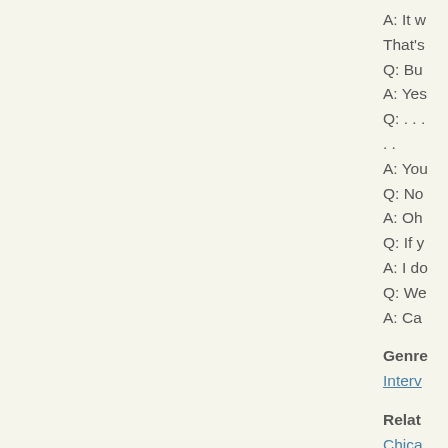A: It w
That's
Q: Bu
A: Yes
Q: . . .
. .
A: You
Q: No
A: Oh
Q: If y
A: I do
Q: We
A: Ca
Genre
Interv
Relat
Chica